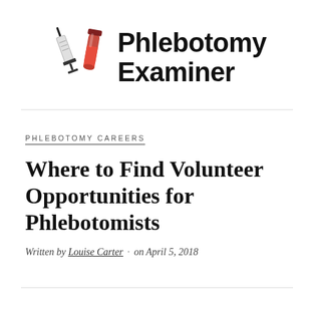[Figure (logo): Phlebotomy Examiner logo with syringe and blood test tube icons alongside bold text reading 'Phlebotomy Examiner']
PHLEBOTOMY CAREERS
Where to Find Volunteer Opportunities for Phlebotomists
Written by Louise Carter · on April 5, 2018